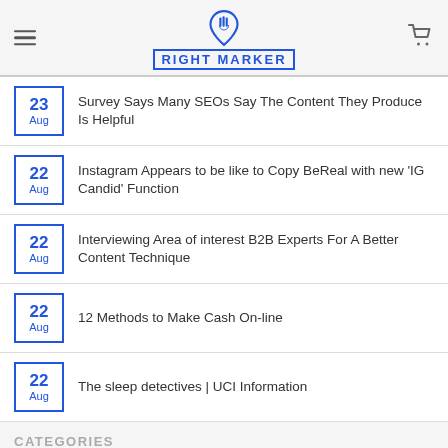RIGHT MARKER
23 Aug — Survey Says Many SEOs Say The Content They Produce Is Helpful
22 Aug — Instagram Appears to be like to Copy BeReal with new 'IG Candid' Function
22 Aug — Interviewing Area of interest B2B Experts For A Better Content Technique
22 Aug — 12 Methods to Make Cash On-line
22 Aug — The sleep detectives | UCI Information
CATEGORIES